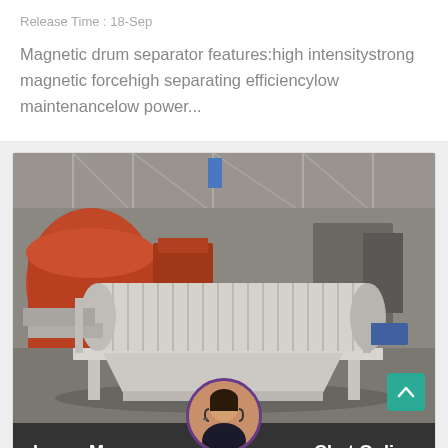Release Time : 18-Sep
Magnetic drum separator features:high intensitystrong magnetic forcehigh separating efficiencylow maintenancelow power...
[Figure (photo): Industrial magnetic drum separator machine in a factory warehouse setting. The machine is white/grey colored with a large cylindrical drum with fins, sitting on a frame. Orange crushing machinery visible in the background left. Industrial warehouse interior with steel roof structure.]
Leave Message
Chat Online
China Magnetic Separator Manufacturer, Wet